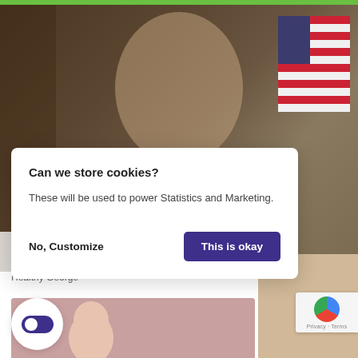[Figure (photo): Background photo of a bald man with goatee wearing a black shirt, seated in front of bookshelves and an American flag]
Can we store cookies?

These will be used to power Statistics and Marketing.

No, Customize    This is okay
Meet Rick Harrison's Gorgeous Wife
Healthy George
[Figure (screenshot): Toggle switch UI element (on state, purple) inside a white circle]
[Figure (photo): Thumbnail image with pinkish-red background, partial figure visible]
[Figure (photo): Thumbnail image bottom right with tan/skin-tone background]
[Figure (logo): Google reCAPTCHA badge with Privacy and Terms text]